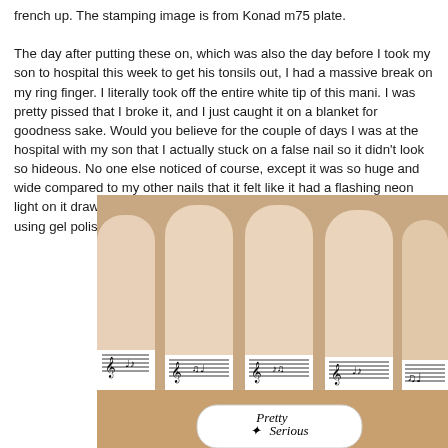french up.  The stamping image is from Konad m75 plate.

The day after putting these on, which was also the day before I took my son to hospital this week to get his tonsils out, I had a massive break on my ring finger.  I literally took off the entire white tip of this mani. I was pretty pissed that I broke it, and I just caught it on a blanket for goodness sake.  Would you believe for the couple of days I was at the hospital with my son that I actually stuck on a false nail so it didn't look so hideous.  No one else noticed of course, except it was so huge and wide compared to my other nails that it felt like it had a flashing neon light on it drawing everyone's attention to it.  I have since built out a tip using gel polish and acrylic powder, lets see how long that last for.
[Figure (photo): Close-up photo of a hand showing french manicure nails with music note stamping designs on the white tips. A white nail polish bottle labeled 'Pretty Serious' is visible in the foreground.]